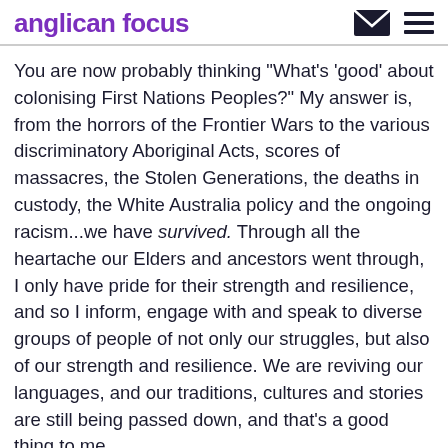anglican focus
You are now probably thinking "What's 'good' about colonising First Nations Peoples?" My answer is, from the horrors of the Frontier Wars to the various discriminatory Aboriginal Acts, scores of massacres, the Stolen Generations, the deaths in custody, the White Australia policy and the ongoing racism...we have survived. Through all the heartache our Elders and ancestors went through, I only have pride for their strength and resilience, and so I inform, engage with and speak to diverse groups of people of not only our struggles, but also of our strength and resilience. We are reviving our languages, and our traditions, cultures and stories are still being passed down, and that's a good thing to me.
I am aware that others may have different views. Your